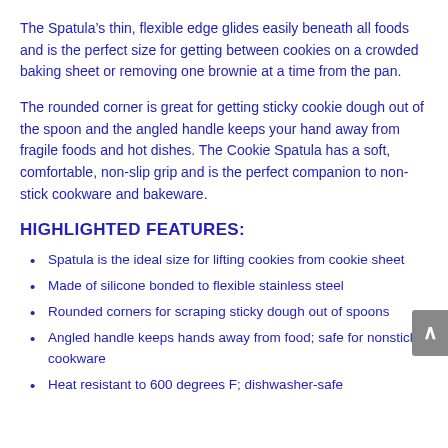The Spatula’s thin, flexible edge glides easily beneath all foods and is the perfect size for getting between cookies on a crowded baking sheet or removing one brownie at a time from the pan.
The rounded corner is great for getting sticky cookie dough out of the spoon and the angled handle keeps your hand away from fragile foods and hot dishes. The Cookie Spatula has a soft, comfortable, non-slip grip and is the perfect companion to non-stick cookware and bakeware.
HIGHLIGHTED FEATURES:
Spatula is the ideal size for lifting cookies from cookie sheet
Made of silicone bonded to flexible stainless steel
Rounded corners for scraping sticky dough out of spoons
Angled handle keeps hands away from food; safe for nonstick cookware
Heat resistant to 600 degrees F; dishwasher-safe